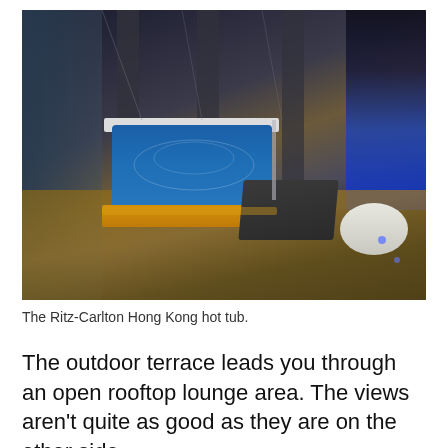[Figure (photo): Rooftop terrace of the Ritz-Carlton Hong Kong at night, featuring an illuminated hot tub with blue water and an orange-glowing base, wooden decking, glass panels, lounge chair, round ottoman, and city lights visible in the background.]
The Ritz-Carlton Hong Kong hot tub.
The outdoor terrace leads you through an open rooftop lounge area. The views aren't quite as good as they are on the other side